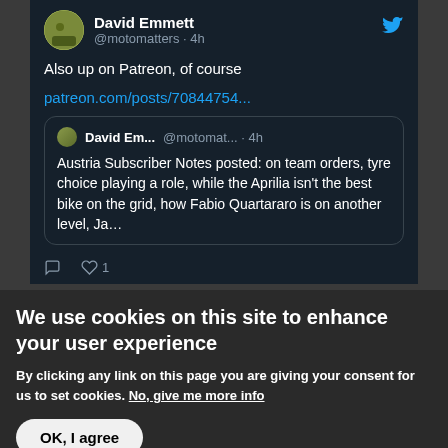[Figure (screenshot): Twitter/social media tweet screenshot showing user David Emmett (@motomatters) posting about Patreon content 4h ago, with text 'Also up on Patreon, of course' and a link 'patreon.com/posts/70844754...' and a quoted tweet about Austria Subscriber Notes]
We use cookies on this site to enhance your user experience
By clicking any link on this page you are giving your consent for us to set cookies. No, give me more info
OK, I agree